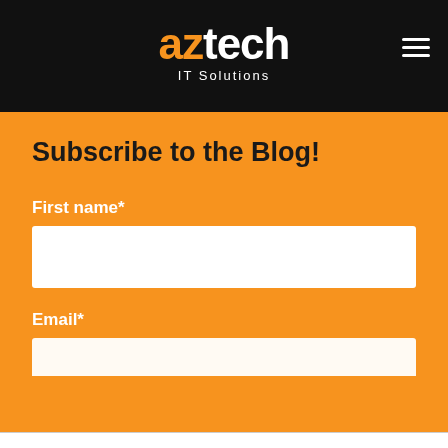aztech IT Solutions
Subscribe to the Blog!
First name*
Email*
This website stores cookies on your computer. These cookies are used to collect information about how you interact with our website and allow us to remember you. We use this information in order to improve and customise your browsing experience and for analytics and metrics about our visitors both on this website and other media. To find out more about the cookies we use, see our Privacy Policy.
Accept
Decline